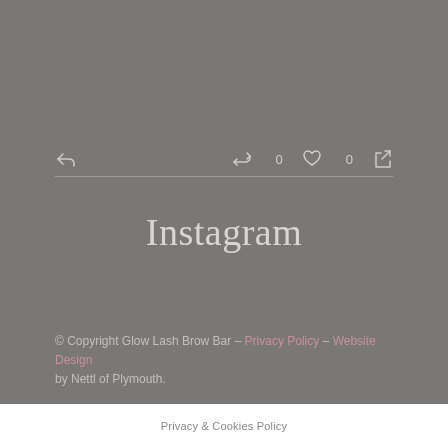[Figure (screenshot): Social media icon row with reply, retweet count 0, like count 0, and share icons on a grey background]
Instagram
© Copyright Glow Lash Brow Bar – Privacy Policy – Website Design by Nettl of Plymouth.
Privacy & Cookies Policy